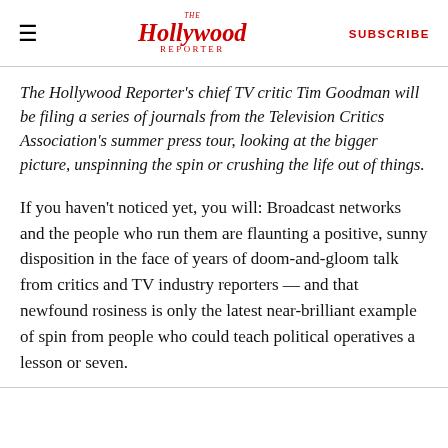The Hollywood Reporter | SUBSCRIBE
The Hollywood Reporter's chief TV critic Tim Goodman will be filing a series of journals from the Television Critics Association's summer press tour, looking at the bigger picture, unspinning the spin or crushing the life out of things.
If you haven't noticed yet, you will: Broadcast networks and the people who run them are flaunting a positive, sunny disposition in the face of years of doom-and-gloom talk from critics and TV industry reporters — and that newfound rosiness is only the latest near-brilliant example of spin from people who could teach political operatives a lesson or seven.